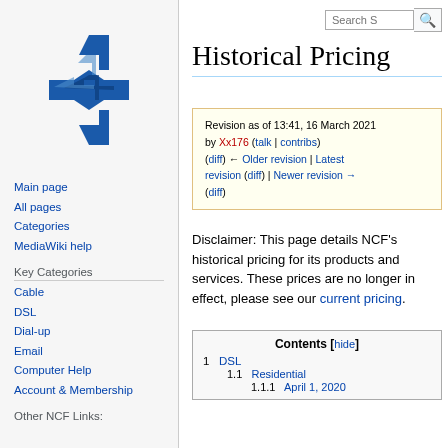[Figure (logo): NCF logo - blue arrow shapes forming a cross/compass pattern]
Main page
All pages
Categories
MediaWiki help
Key Categories
Cable
DSL
Dial-up
Email
Computer Help
Account & Membership
Other NCF Links:
Historical Pricing
Revision as of 13:41, 16 March 2021 by Xx176 (talk | contribs) (diff) ← Older revision | Latest revision (diff) | Newer revision → (diff)
Disclaimer: This page details NCF's historical pricing for its products and services. These prices are no longer in effect, please see our current pricing.
| Contents |
| --- |
| 1  DSL |
| 1.1  Residential |
| 1.1.1  April 1, 2020 |